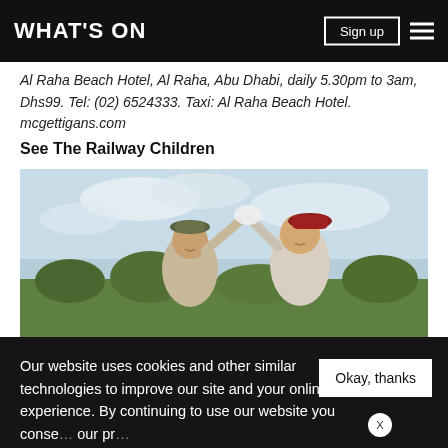WHAT'S ON
Al Raha Beach Hotel, Al Raha, Abu Dhabi, daily 5.30pm to 3am, Dhs99. Tel: (02) 6524333. Taxi: Al Raha Beach Hotel. mcgettigans.com
See The Railway Children
[Figure (photo): Two young girls in period costume waving, outdoors with trees and cloudy sky in background.]
Our website uses cookies and other similar technologies to improve our site and your online experience. By continuing to use our website you consent our pr...
[Figure (infographic): What's On app promotion banner: GET THE BEST OF THE UAE STRAIGHT TO YOUR INBOX / SIGN ME UP]